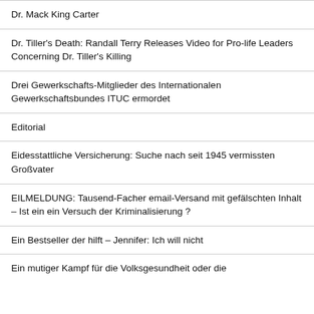Dr. Mack King Carter
Dr. Tiller's Death: Randall Terry Releases Video for Pro-life Leaders Concerning Dr. Tiller's Killing
Drei Gewerkschafts-Mitglieder des Internationalen Gewerkschaftsbundes ITUC ermordet
Editorial
Eidesstattliche Versicherung: Suche nach seit 1945 vermissten Großvater
EILMELDUNG: Tausend-Facher email-Versand mit gefälschten Inhalt – Ist ein ein Versuch der Kriminalisierung ?
Ein Bestseller der hilft – Jennifer: Ich will nicht
Ein mutiger Kampf für die Volksgesundheit oder die